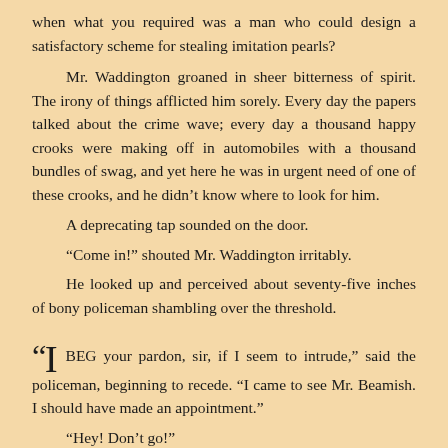when what you required was a man who could design a satisfactory scheme for stealing imitation pearls?
Mr. Waddington groaned in sheer bitterness of spirit. The irony of things afflicted him sorely. Every day the papers talked about the crime wave; every day a thousand happy crooks were making off in automobiles with a thousand bundles of swag, and yet here he was in urgent need of one of these crooks, and he didn't know where to look for him.
A deprecating tap sounded on the door.
“Come in!” shouted Mr. Waddington irritably.
He looked up and perceived about seventy-five inches of bony policeman shambling over the threshold.
“I BEG your pardon, sir, if I seem to intrude,” said the policeman, beginning to recede. “I came to see Mr. Beamish. I should have made an appointment.”
“Hey! Don’t go!”